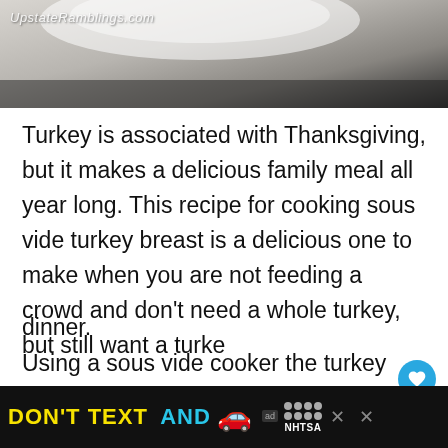[Figure (photo): Top portion of a food photo showing a dish, partially visible, with UpstateRamblings.com watermark in the upper left corner.]
Turkey is associated with Thanksgiving, but it makes a delicious family meal all year long. This recipe for cooking sous vide turkey breast is a delicious one to make when you are not feeding a crowd and don't need a whole turkey, but still want a turkey dinner.
Using a sous vide cooker the turkey breast is perfect cooked and then seared in a hot pan fo...
[Figure (infographic): NHTSA DON'T TEXT AND DRIVE advertisement banner at the bottom of the page with yellow and cyan text on black background, a red car emoji, ad logo, and NHTSA dots logo.]